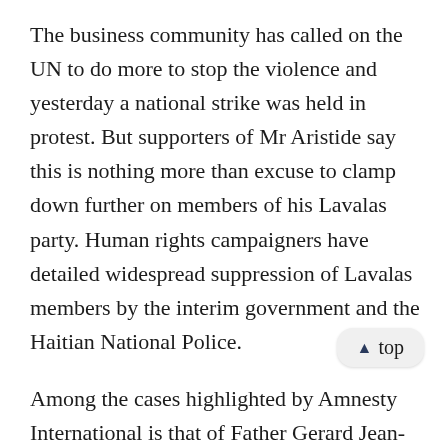The business community has called on the UN to do more to stop the violence and yesterday a national strike was held in protest. But supporters of Mr Aristide say this is nothing more than excuse to clamp down further on members of his Lavalas party. Human rights campaigners have detailed widespread suppression of Lavalas members by the interim government and the Haitian National Police.
▲ top
Among the cases highlighted by Amnesty International is that of Father Gerard Jean-Juste, a